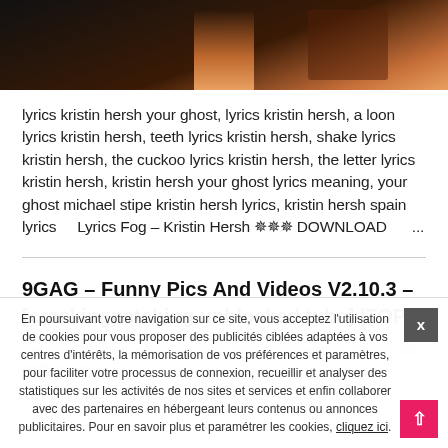[Figure (photo): Partial photo of a person playing guitar on stage, dark background with warm orange tones]
lyrics kristin hersh your ghost, lyrics kristin hersh, a loon lyrics kristin hersh, teeth lyrics kristin hersh, shake lyrics kristin hersh, the cuckoo lyrics kristin hersh, the letter lyrics kristin hersh, kristin hersh your ghost lyrics meaning, your ghost michael stipe kristin hersh lyrics, kristin hersh spain lyrics    Lyrics Fog – Kristin Hersh ✵✵✵ DOWNLOAD      ...
9GAG – Funny Pics And Videos V2.10.3 – [crackingpatching.unblocked.tube] |TOP|
[blurred/obscured text]
En poursuivant votre navigation sur ce site, vous acceptez l'utilisation de cookies pour vous proposer des publicités ciblées adaptées à vos centres d'intérêts, la mémorisation de vos préférences et paramètres, pour faciliter votre processus de connexion, recueillir et analyser des statistiques sur les activités de nos sites et services et enfin collaborer avec des partenaires en hébergeant leurs contenus ou annonces publicitaires. Pour en savoir plus et paramétrer les cookies, cliquez ici.